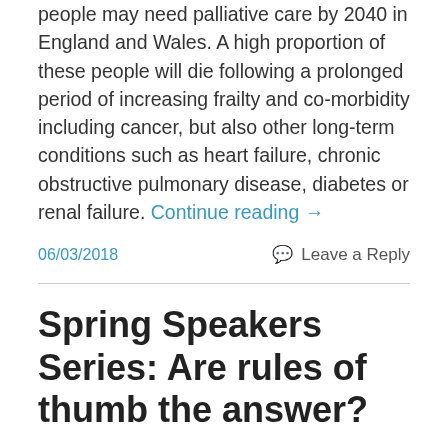people may need palliative care by 2040 in England and Wales. A high proportion of these people will die following a prolonged period of increasing frailty and co-morbidity including cancer, but also other long-term conditions such as heart failure, chronic obstructive pulmonary disease, diabetes or renal failure. Continue reading →
06/03/2018
Leave a Reply
Spring Speakers Series: Are rules of thumb the answer?
Nathan Davies is a Senior Research Fellow at University College London focusing on care for people with dementia towards the end of life and supporting family carers. In this post he talks about